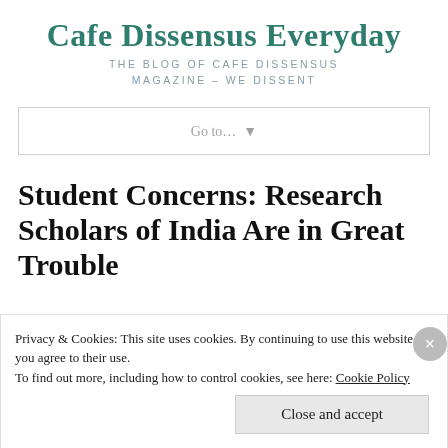Cafe Dissensus Everyday
THE BLOG OF CAFE DISSENSUS MAGAZINE – WE DISSENT
Go to...  ▼
Student Concerns: Research Scholars of India Are in Great Trouble
Privacy & Cookies: This site uses cookies. By continuing to use this website, you agree to their use.
To find out more, including how to control cookies, see here: Cookie Policy
Close and accept